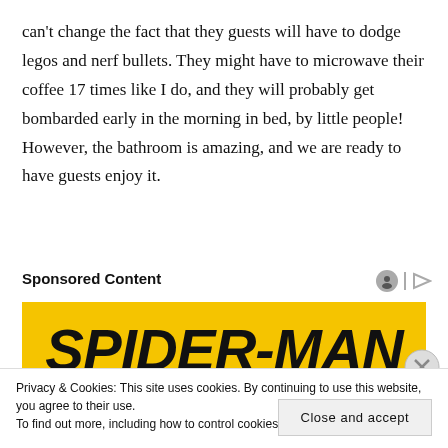can't change the fact that they guests will have to dodge legos and nerf bullets. They might have to microwave their coffee 17 times like I do, and they will probably get bombarded early in the morning in bed, by little people! However, the bathroom is amazing, and we are ready to have guests enjoy it.
Sponsored Content
[Figure (illustration): Spider-Man advertisement banner with yellow background and bold black text reading SPIDER-MAN]
Privacy & Cookies: This site uses cookies. By continuing to use this website, you agree to their use.
To find out more, including how to control cookies, see here: Cookie Policy
Close and accept